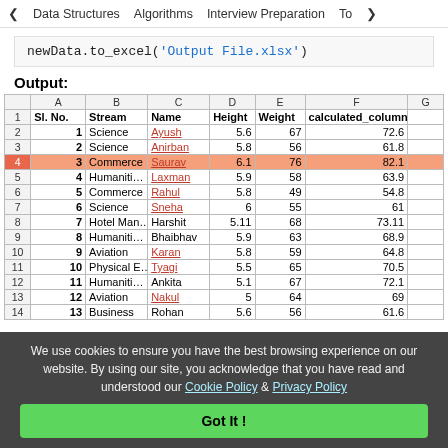< Data Structures   Algorithms   Interview Preparation   To>
newData.to_excel('Output File.xlsx')
Output:
|  | A | B | C | D | E | F | G |
| --- | --- | --- | --- | --- | --- | --- | --- |
| 1 | Sl. No. | Stream | Name | Height | Weight | calculated_column |  |
| 2 | 1 | Science | Ayush | 5.6 | 67 | 72.6 |  |
| 3 | 2 | Science | Anirban | 5.8 | 56 | 61.8 |  |
| 4 | 3 | Commerce | Saurav | 6.1 | 76 | 82.1 |  |
| 5 | 4 | Humanities | Laxman | 5.9 | 58 | 63.9 |  |
| 6 | 5 | Commerce | Rahul | 5.8 | 49 | 54.8 |  |
| 7 | 6 | Science | Sneha | 6 | 55 | 61 |  |
| 8 | 7 | Hotel Man | Harshit | 5.11 | 68 | 73.11 |  |
| 9 | 8 | Humanities | Bhaibhav | 5.9 | 63 | 68.9 |  |
| 10 | 9 | Aviation | Karan | 5.8 | 59 | 64.8 |  |
| 11 | 10 | Physical E | Tyagi | 5.5 | 65 | 70.5 |  |
| 12 | 11 | Humanities | Ankita | 5.1 | 67 | 72.1 |  |
| 13 | 12 | Aviation | Nakul | 5 | 64 | 69 |  |
| 14 | 13 | Business | Rohan | 5.6 | 56 | 61.6 |  |
We use cookies to ensure you have the best browsing experience on our website. By using our site, you acknowledge that you have read and understood our Cookie Policy & Privacy Policy
Got It !